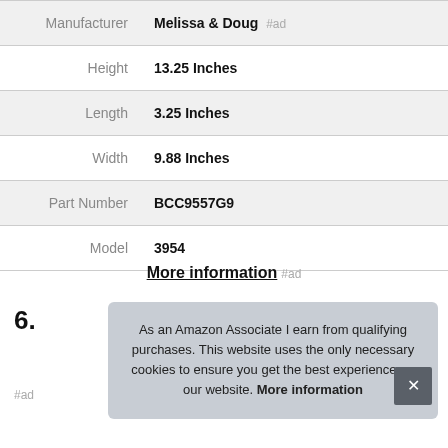| Attribute | Value |
| --- | --- |
| Manufacturer | Melissa & Doug #ad |
| Height | 13.25 Inches |
| Length | 3.25 Inches |
| Width | 9.88 Inches |
| Part Number | BCC9557G9 |
| Model | 3954 |
More information #ad
6.
#ad
As an Amazon Associate I earn from qualifying purchases. This website uses the only necessary cookies to ensure you get the best experience on our website. More information